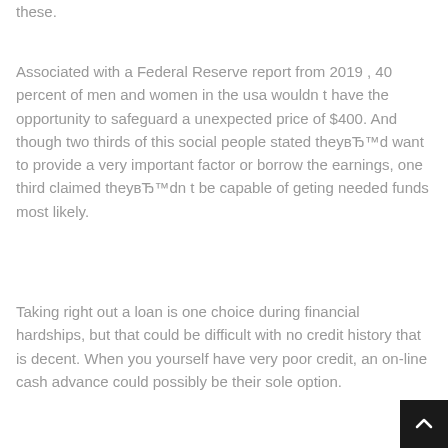these.
Associated with a Federal Reserve report from 2019 , 40 percent of men and women in the usa wouldn t have the opportunity to safeguard a unexpected price of $400. And though two thirds of this social people stated theyвЂ™d want to provide a very important factor or borrow the earnings, one third claimed theyвЂ™dn t be capable of geting needed funds most likely.
Taking right out a loan is one choice during financial hardships, but that could be difficult with no credit history that is decent. When you yourself have very poor credit, an on-line cash advance could possibly be their sole option.